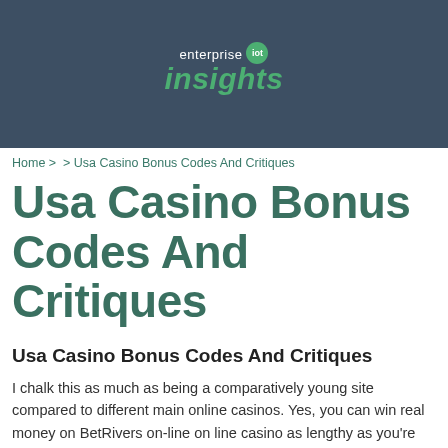[Figure (logo): Enterprise IoT Insights logo on dark blue-grey background. 'enterprise' in white, 'iot' in green circle badge, 'insights' in large green italic text.]
Home >  > Usa Casino Bonus Codes And Critiques
Usa Casino Bonus Codes And Critiques
Usa Casino Bonus Codes And Critiques
I chalk this as much as being a comparatively young site compared to different main online casinos. Yes, you can win real money on BetRivers on-line on line casino as lengthy as you're within Pennsylvania, Michigan, or West Virginia at a minimum. Terms have a number of conditions...